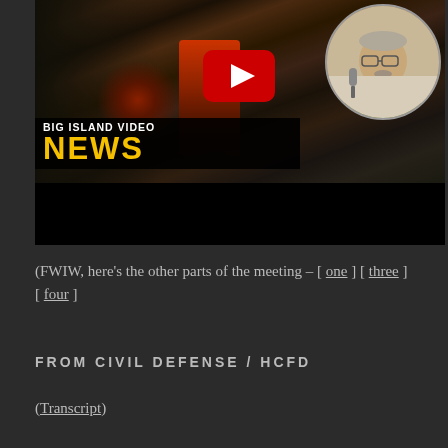[Figure (screenshot): Big Island Video News YouTube video thumbnail showing lava flows with a circular inset of a man speaking at a microphone. The thumbnail has a YouTube play button overlay and shows the 'BIG ISLAND VIDEO NEWS' branding with yellow text.]
(FWIW, here's the other parts of the meeting – [ one ] [ three ] [ four ]
FROM CIVIL DEFENSE / HCFD
(Transcript)